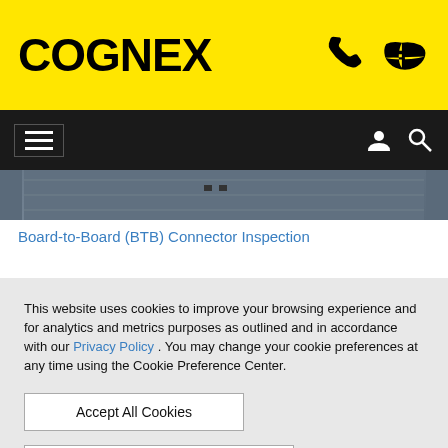COGNEX
[Figure (screenshot): Cognex website navigation bar with hamburger menu icon on left and user/search icons on right, on dark background]
[Figure (photo): Partial view of a circuit board or connector inspection image, dark metallic surface]
Board-to-Board (BTB) Connector Inspection
This website uses cookies to improve your browsing experience and for analytics and metrics purposes as outlined and in accordance with our Privacy Policy . You may change your cookie preferences at any time using the Cookie Preference Center.
Accept All Cookies
Cookie Preference Center